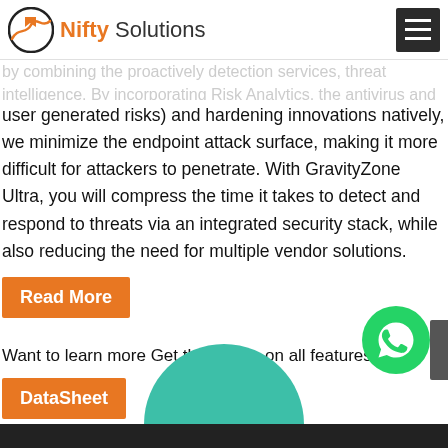Nifty Solutions
user generated risks) and hardening innovations natively, we minimize the endpoint attack surface, making it more difficult for attackers to penetrate. With GravityZone Ultra, you will compress the time it takes to detect and respond to threats via an integrated security stack, while also reducing the need for multiple vendor solutions.
Read More
Want to learn more Get the details on all features
DataSheet
[Figure (logo): WhatsApp green phone icon]
[Figure (illustration): Teal/green semi-circle emerging from bottom of page]